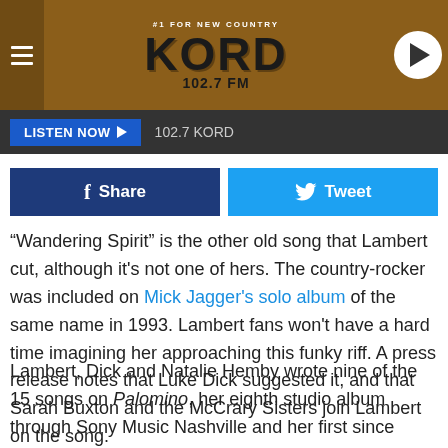[Figure (logo): KORD 102.7 FM radio station header banner with hamburger menu and play button]
LISTEN NOW ▶  102.7 KORD
[Figure (other): Facebook Share and Twitter Tweet social sharing buttons]
"Wandering Spirit" is the other old song that Lambert cut, although it's not one of hers. The country-rocker was included on Mick Jagger's solo album of the same name in 1993. Lambert fans won't have a hard time imagining her approaching this funky riff. A press release notes that Luke Dick suggested it, and that Sarah Buxton and the McCrary Sisters join Lambert on the song.
Lambert, Dick and Natalie Hemby wrote nine of the 15 songs on Palomino, her eighth studio album through Sony Music Nashville and her first since Wildcard in 2019. In announcing the album, the newly crowned ACM Entertainer of the